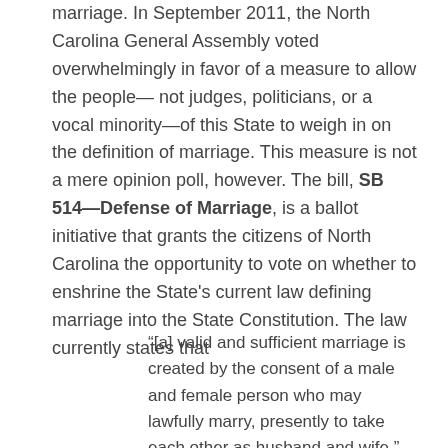marriage. In September 2011, the North Carolina General Assembly voted overwhelmingly in favor of a measure to allow the people— not judges, politicians, or a vocal minority—of this State to weigh in on the definition of marriage. This measure is not a mere opinion poll, however. The bill, SB 514—Defense of Marriage, is a ballot initiative that grants the citizens of North Carolina the opportunity to vote on whether to enshrine the State's current law defining marriage into the State Constitution. The law currently states that
“[a] valid and sufficient marriage is created by the consent of a male and female person who may lawfully marry, presently to take each other as husband and wife.”